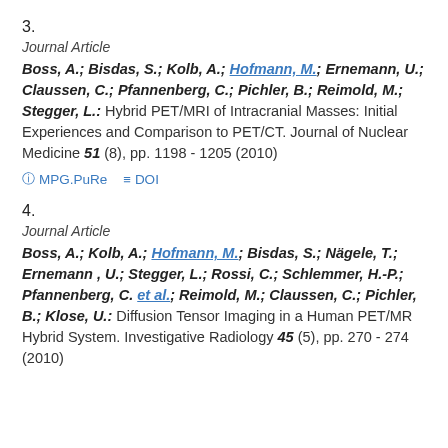3.
Journal Article
Boss, A.; Bisdas, S.; Kolb, A.; Hofmann, M.; Ernemann, U.; Claussen, C.; Pfannenberg, C.; Pichler, B.; Reimold, M.; Stegger, L.: Hybrid PET/MRI of Intracranial Masses: Initial Experiences and Comparison to PET/CT. Journal of Nuclear Medicine 51 (8), pp. 1198 - 1205 (2010)
MPG.PuRe   DOI
4.
Journal Article
Boss, A.; Kolb, A.; Hofmann, M.; Bisdas, S.; Nägele, T.; Ernemann , U.; Stegger, L.; Rossi, C.; Schlemmer, H.-P.; Pfannenberg, C. et al.; Reimold, M.; Claussen, C.; Pichler, B.; Klose, U.: Diffusion Tensor Imaging in a Human PET/MR Hybrid System. Investigative Radiology 45 (5), pp. 270 - 274 (2010)